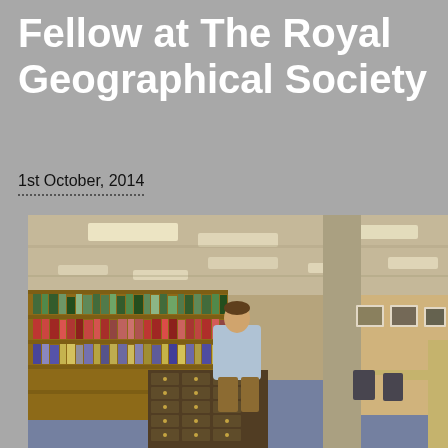Fellow at The Royal Geographical Society
1st October, 2014
[Figure (photo): Interior of a library reading room at the Royal Geographical Society. A person in a light blue shirt stands at a card catalog cabinet. Bookshelves with colored volumes line the left wall. In the background, another person sits at a desk with a laptop. Framed pictures hang on the right wall. The room has blue carpet and fluorescent lighting.]